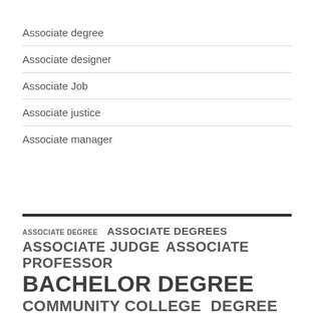Associate degree
Associate designer
Associate Job
Associate justice
Associate manager
ASSOCIATE DEGREE  ASSOCIATE DEGREES  ASSOCIATE JUDGE  ASSOCIATE PROFESSOR  BACHELOR DEGREE  COMMUNITY COLLEGE  DEGREE PROGRAM  FULL TIME  HIGHER EDUCATION